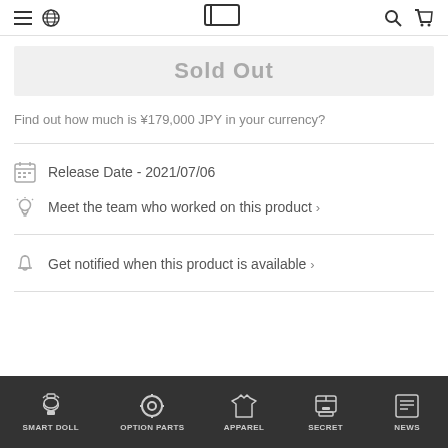≡ 🌐 [logo] 🔍 🛒
Sold Out
Find out how much is ¥179,000 JPY in your currency?
Release Date - 2021/07/06
Meet the team who worked on this product >
Get notified when this product is available >
SMART DOLL  OPTION PARTS  APPAREL  SECRET  NEWS